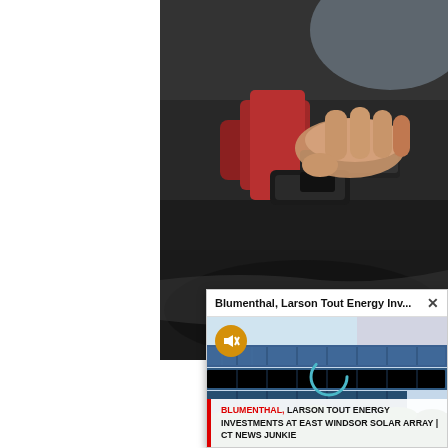[Figure (photo): Close-up photo of a hand holding a red gas pump nozzle, inserting into a vehicle fuel tank. Dark background with blurred car elements.]
[Figure (screenshot): A popup video player notification showing solar panels with title 'Blumenthal, Larson Tout Energy Inv...' with a close button X, a muted speaker icon, a loading spinner, and a headline caption 'BLUMENTHAL, LARSON TOUT ENERGY INVESTMENTS AT EAST WINDSOR SOLAR ARRAY | CT NEWS JUNKIE']